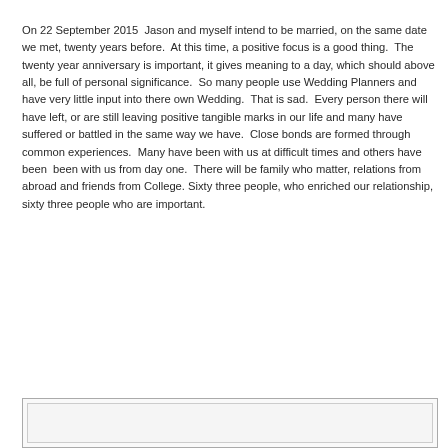On 22 September 2015  Jason and myself intend to be married, on the same date we met, twenty years before.  At this time, a positive focus is a good thing.  The twenty year anniversary is important, it gives meaning to a day, which should above all, be full of personal significance.  So many people use Wedding Planners and have very little input into there own Wedding.  That is sad.  Every person there will have left, or are still leaving positive tangible marks in our life and many have suffered or battled in the same way we have.  Close bonds are formed through common experiences.  Many have been with us at difficult times and others have been  been with us from day one.  There will be family who matter, relations from abroad and friends from College. Sixty three people, who enriched our relationship, sixty three people who are important.
[Figure (illustration): Partially visible decorative image at the bottom of the page, showing what appears to be a wedding-related illustration.]